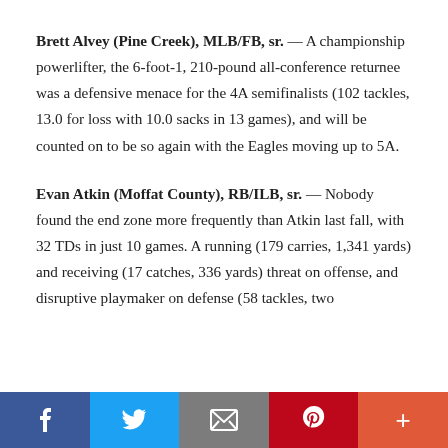Brett Alvey (Pine Creek), MLB/FB, sr. — A championship powerlifter, the 6-foot-1, 210-pound all-conference returnee was a defensive menace for the 4A semifinalists (102 tackles, 13.0 for loss with 10.0 sacks in 13 games), and will be counted on to be so again with the Eagles moving up to 5A.
Evan Atkin (Moffat County), RB/ILB, sr. — Nobody found the end zone more frequently than Atkin last fall, with 32 TDs in just 10 games. A running (179 carries, 1,341 yards) and receiving (17 catches, 336 yards) threat on offense, and disruptive playmaker on defense (58 tackles, two